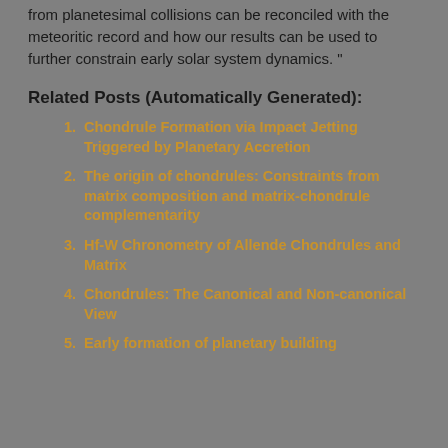from planetesimal collisions can be reconciled with the meteoritic record and how our results can be used to further constrain early solar system dynamics. "
Related Posts (Automatically Generated):
Chondrule Formation via Impact Jetting Triggered by Planetary Accretion
The origin of chondrules: Constraints from matrix composition and matrix-chondrule complementarity
Hf-W Chronometry of Allende Chondrules and Matrix
Chondrules: The Canonical and Non-canonical View
Early formation of planetary building